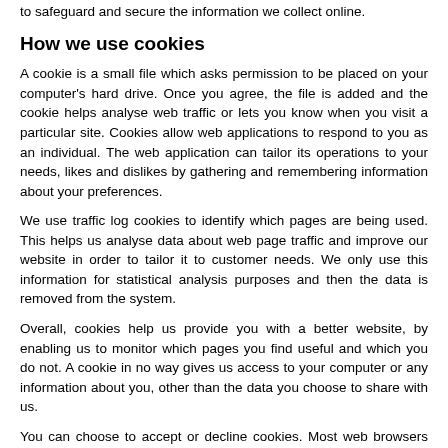to safeguard and secure the information we collect online.
How we use cookies
A cookie is a small file which asks permission to be placed on your computer's hard drive. Once you agree, the file is added and the cookie helps analyse web traffic or lets you know when you visit a particular site. Cookies allow web applications to respond to you as an individual. The web application can tailor its operations to your needs, likes and dislikes by gathering and remembering information about your preferences.
We use traffic log cookies to identify which pages are being used. This helps us analyse data about web page traffic and improve our website in order to tailor it to customer needs. We only use this information for statistical analysis purposes and then the data is removed from the system.
Overall, cookies help us provide you with a better website, by enabling us to monitor which pages you find useful and which you do not. A cookie in no way gives us access to your computer or any information about you, other than the data you choose to share with us.
You can choose to accept or decline cookies. Most web browsers automatically accept cookies, but you can usually modify your browser setting to decline cookies if you prefer. This may prevent you from taking full advantage of the website.